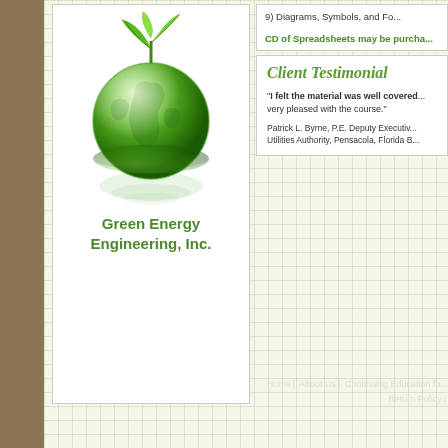[Figure (logo): Green Energy Engineering Inc. logo showing a green globe with a plant sprout on top and reflection below]
Green Energy Engineering, Inc.
9) Diagrams, Symbols, and Fo...
CD of Spreadsheets may be purcha...
Client Testimonial
"I felt the material was well covered... very pleased with the course."
Patrick L. Byrne, P.E. Deputy Executiv... Utilities Authority, Pensacola, Florida B...
Home | About Us | Continuing Education fo... | Return Policy |